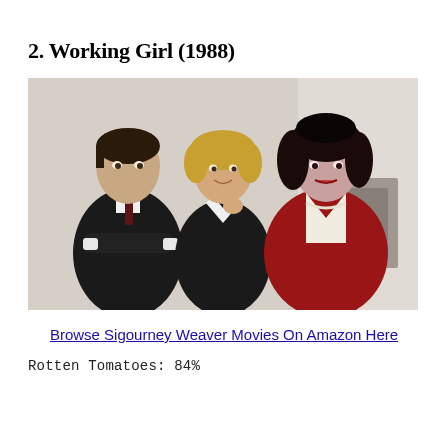2. Working Girl (1988)
[Figure (photo): Promotional photo from Working Girl (1988) showing three actors: a man in a dark suit with arms crossed on the left, a blonde woman in a black jacket in the center, and a dark-haired woman in a red jacket on the right.]
Browse Sigourney Weaver Movies On Amazon Here
Rotten Tomatoes: 84%